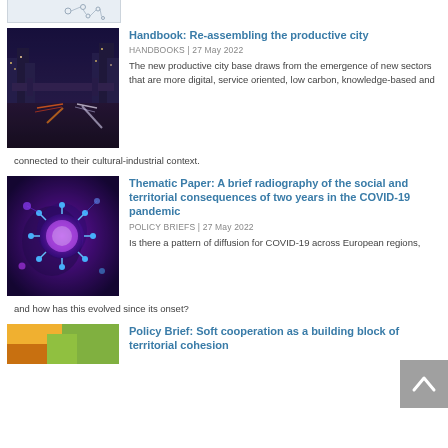[Figure (photo): White background with molecular/network dots illustration, partial view at top]
[Figure (photo): Night city highway with light trails and urban infrastructure]
Handbook: Re-assembling the productive city
HANDBOOKS | 27 May 2022
The new productive city base draws from the emergence of new sectors that are more digital, service oriented, low carbon, knowledge-based and connected to their cultural-industrial context.
[Figure (photo): Purple/blue glowing COVID-19 coronavirus particles over a map of Europe]
Thematic Paper: A brief radiography of the social and territorial consequences of two years in the COVID-19 pandemic
POLICY BRIEFS | 27 May 2022
Is there a pattern of diffusion for COVID-19 across European regions, and how has this evolved since its onset?
[Figure (photo): Orange and green abstract geometric shapes, partial view at bottom]
Policy Brief: Soft cooperation as a building block of territorial cohesion